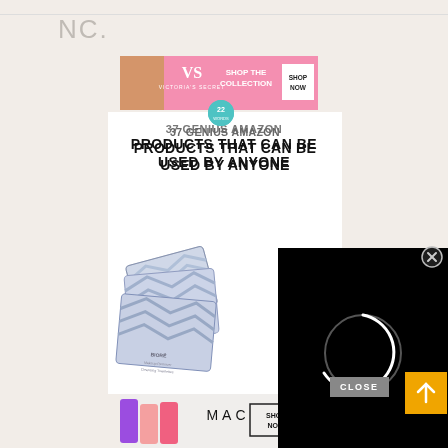NC.
[Figure (photo): Victoria's Secret advertisement banner: pink background with model, VS logo, text 'SHOP THE COLLECTION', button 'SHOP NOW']
[Figure (logo): 22 Words circular teal badge/logo]
37 GENIUS AMAZON PRODUCTS THAT CAN BE USED BY ANYONE
[Figure (photo): Stack of Bioré makeup remover cleansing towelettes packages in blue/white geometric pattern packaging]
[Figure (screenshot): Black video player overlay with white circular loading spinner]
[Figure (photo): MAC cosmetics advertisement banner: lipsticks in purple, pink, coral, red colors, MAC logo, 'SHOP NOW' button]